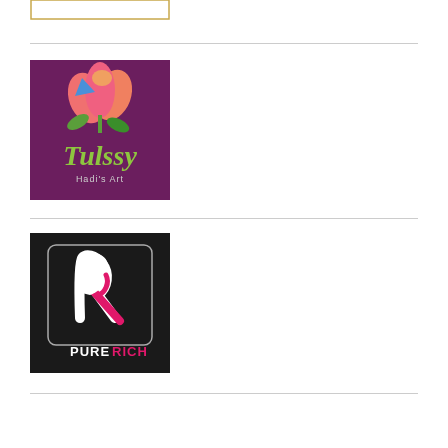[Figure (logo): Partial logo with gold border frame, white background, top of page (cropped)]
[Figure (logo): Tulssy Hadi's Art logo: purple background with pink tulip flower and colorful leaves, green script text 'Tulssy' and subtitle 'Hadi's Art']
[Figure (logo): PureRich logo: dark/black background with stylized white and pink 'R' letter mark inside a rounded rectangle frame, text 'PURERICH' below with 'RICH' in red/pink]